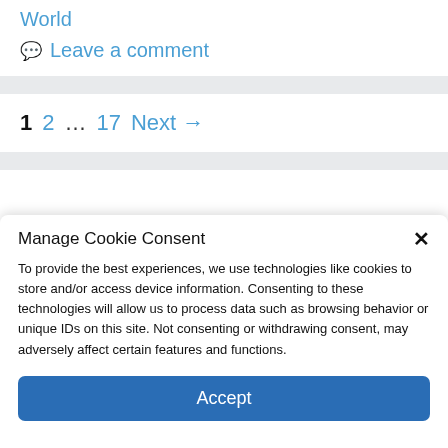World
Leave a comment
1  2  ...  17  Next →
Manage Cookie Consent
To provide the best experiences, we use technologies like cookies to store and/or access device information. Consenting to these technologies will allow us to process data such as browsing behavior or unique IDs on this site. Not consenting or withdrawing consent, may adversely affect certain features and functions.
Accept